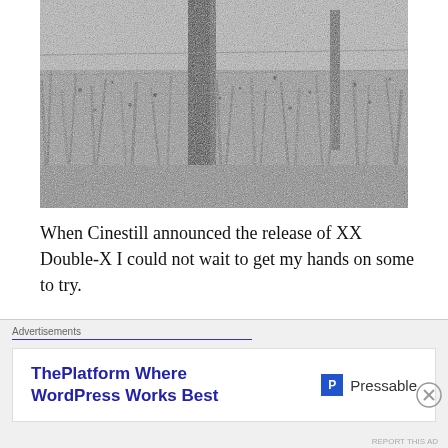[Figure (photo): Black and white photograph of a wooden fence post surrounded by tall wild grass and sparse vegetation, with a wire fence visible in the background.]
When Cinestill announced the release of XX Double-X I could not wait to get my hands on some to try.
I have shot Double-X film stock 5222 in 35mm that
Advertisements
ThePlatform Where WordPress Works Best   P Pressable